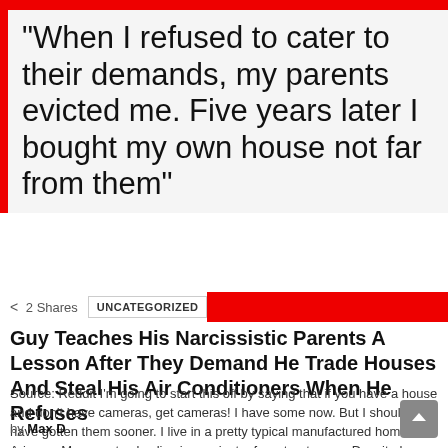"When I refused to cater to their demands, my parents evicted me. Five years later I bought my own house not far from them"
< 2 Shares   UNCATEGORIZED
Guy Teaches His Narcissistic Parents A Lesson After They Demand He Trade Houses And Steal His Air Conditioners When He Refuses
Source: Reddit I'm going to start this off by saying that if you have a house and don't have cameras, get cameras! I have some now. But I should have gotten them sooner. I live in a pretty typical manufactured home in Arizona. My parents also live in one just a few streets over. Despite how [...] MORE
by Max D